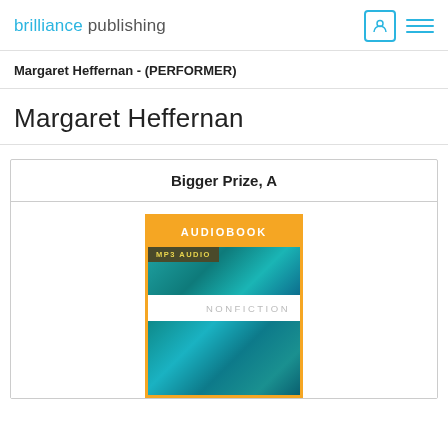brilliance publishing
Margaret Heffernan - (PERFORMER)
Margaret Heffernan
| Bigger Prize, A |
| --- |
| [audiobook cover image] |
Bigger Prize, A